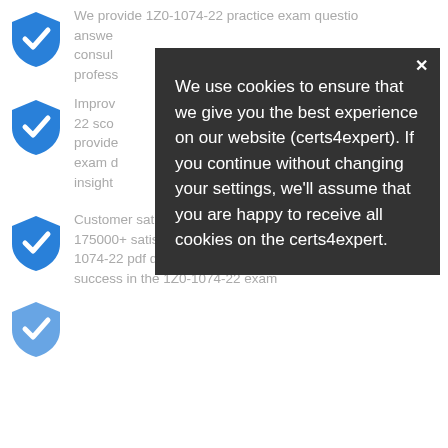We provide 1Z0-1074-22 practice exam questions with verified answers that reflects the actual exam. In the other words, 1Z0-1074-22 VCE questions are consulted from the certified professionals.
Improve your 1Z0-1074-22 score by using our 1Z0-1074-22 score by using our provides 1Z0-1074-22 exam dumps and exam questions, exam d insight
[Figure (other): Cookie consent popup overlay with dark background. Close button (x) at top right. Text: We use cookies to ensure that we give you the best experience on our website (certs4expert). If you continue without changing your settings, we'll assume that you are happy to receive all cookies on the certs4expert.]
Customer satisfaction is our first priority. We have more than 175000+ satisfied customers. Our customers using 1Z0-1074-22 pdf dumps multiple times so you can ensure your success in the 1Z0-1074-22 exam
(partial, cut off at bottom)